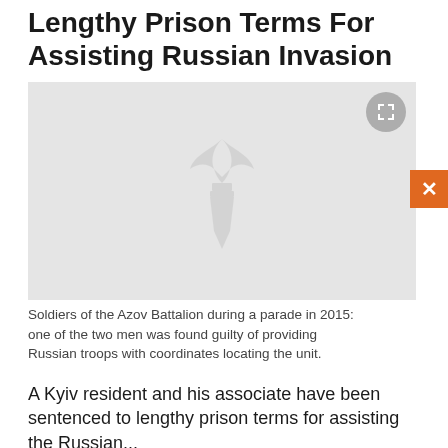Lengthy Prison Terms For Assisting Russian Invasion
[Figure (photo): Gray placeholder image with RFE/RL watermark logo in the center and an expand icon in top-right corner. Soldiers of the Azov Battalion during a parade in 2015.]
Soldiers of the Azov Battalion during a parade in 2015: one of the two men was found guilty of providing Russian troops with coordinates locating the unit.
A Kyiv resident and his associate have been sentenced to lengthy prison terms for assisting the Russian...